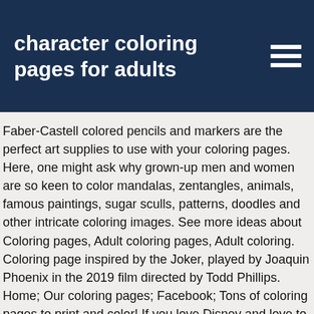character coloring pages for adults
Faber-Castell colored pencils and markers are the perfect art supplies to use with your coloring pages. Here, one might ask why grown-up men and women are so keen to color mandalas, zentangles, animals, famous paintings, sugar sculls, patterns, doodles and other intricate coloring images. See more ideas about Coloring pages, Adult coloring pages, Adult coloring. Coloring page inspired by the Joker, played by Joaquin Phoenix in the 2019 film directed by Todd Phillips. Home; Our coloring pages; Facebook; Tons of coloring pages to print and color! If you love Disney and love to color, we got you covered. Angry Birds . See more ideas about adult coloring pages, coloring pages, free coloring pages. 15 Princesses Coloring Pages, Rainbows, I can't remember a person